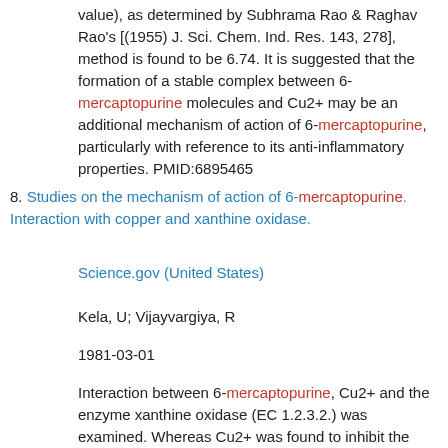value), as determined by Subhrama Rao & Raghav Rao's [(1955) J. Sci. Chem. Ind. Res. 143, 278], method is found to be 6.74. It is suggested that the formation of a stable complex between 6-mercaptopurine molecules and Cu2+ may be an additional mechanism of action of 6-mercaptopurine, particularly with reference to its anti-inflammatory properties. PMID:6895465
8. Studies on the mechanism of action of 6-mercaptopurine. Interaction with copper and xanthine oxidase.
Science.gov (United States)
Kela, U; Vijayvargiya, R
1981-03-01
Interaction between 6-mercaptopurine, Cu2+ and the enzyme xanthine oxidase (EC 1.2.3.2.) was examined. Whereas Cu2+ was found to inhibit the enzyme, 6-mercaptopurine could protect as well as reverse the enzyme inhibition produced by the metal ion. The formation of a complex between 6-mercaptopurine and Cu2+ seems to be responsible for the observed effect. Job's [(1928) Ann. Chem. 9, 113] method has shown the composition